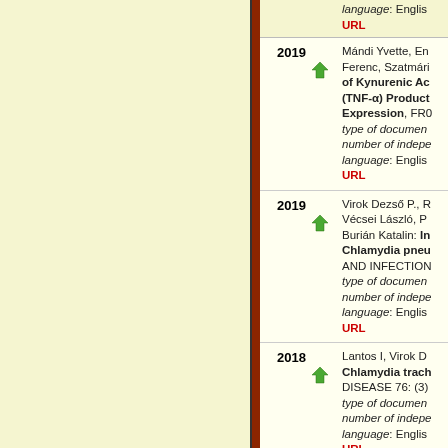| Year | Icon | Reference |
| --- | --- | --- |
|  |  | language: English
URL |
| 2019 |  | Mándi Yvette, En... Ferenc, Szatmári... of Kynurenic Ac... (TNF-α) Product... Expression, FR0... type of document... number of indepe... language: English
URL |
| 2019 |  | Virok Dezső P., R... Vécsei László, P... Burián Katalin: In... Chlamydia pneu... AND INFECTION... type of document... number of indepe... language: English
URL |
| 2018 |  | Lantos I, Virok D... Chlamydia trac... DISEASE 76: (3)... type of document... number of indepe... language: English
URL |
| 2018 |  | Ildikó Lantos, Val... Mosolygó, Katalin... Atherosclerosis... INTERNATIONAL... type of document... number of indepe... language: English
URL |